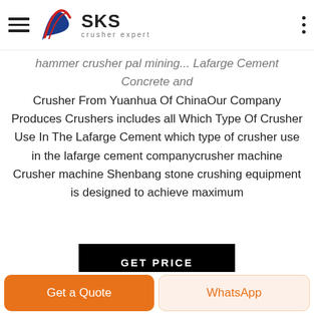SKS crusher expert
hammer crusher pal mining... Lafarge Cement Concrete and Crusher From Yuanhua Of ChinaOur Company Produces Crushers includes all Which Type Of Crusher Use In The Lafarge Cement which type of crusher use in the lafarge cement companycrusher machine Crusher machine Shenbang stone crushing equipment is designed to achieve maximum
GET PRICE
[Figure (photo): Industrial crusher machinery inside a large building with glass walls and structural supports]
Get a Quote
WhatsApp